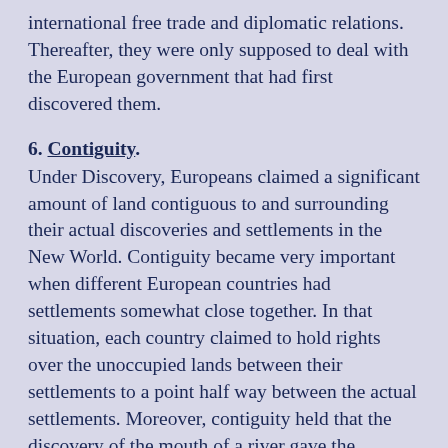international free trade and diplomatic relations. Thereafter, they were only supposed to deal with the European government that had first discovered them.
6. Contiguity.
Under Discovery, Europeans claimed a significant amount of land contiguous to and surrounding their actual discoveries and settlements in the New World. Contiguity became very important when different European countries had settlements somewhat close together. In that situation, each country claimed to hold rights over the unoccupied lands between their settlements to a point half way between the actual settlements. Moreover, contiguity held that the discovery of the mouth of a river gave the discovering country a claim over all the lands drained by that river; even if that was thousands of miles of territory. For example, refer to the boundaries of the Louisiana Territory and Oregon country as defined by the United States.